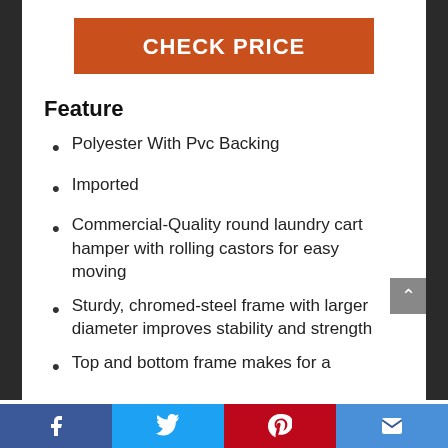CHECK PRICE
Feature
Polyester With Pvc Backing
Imported
Commercial-Quality round laundry cart hamper with rolling castors for easy moving
Sturdy, chromed-steel frame with larger diameter improves stability and strength
Top and bottom frame makes for a